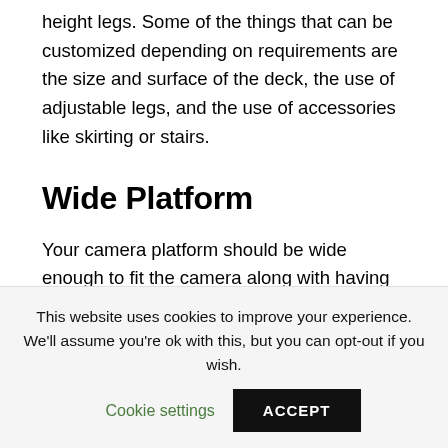height legs. Some of the things that can be customized depending on requirements are the size and surface of the deck, the use of adjustable legs, and the use of accessories like skirting or stairs.
Wide Platform
Your camera platform should be wide enough to fit the camera along with having enough space for a person to sit or stand while they use it.
This website uses cookies to improve your experience. We'll assume you're ok with this, but you can opt-out if you wish. Cookie settings ACCEPT